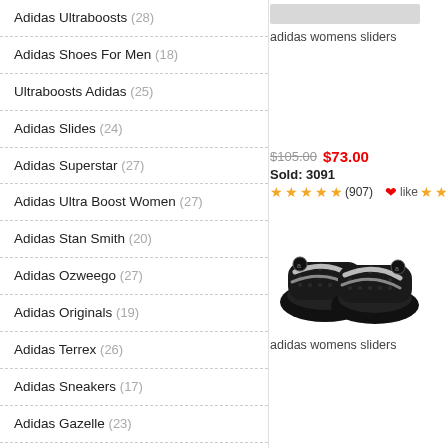Adidas Ultraboosts (28)
Adidas Shoes For Men (18)
Ultraboosts Adidas (25)
Adidas Slides (24)
Adidas Superstar (27)
Adidas Ultra Boost Women (27)
Adidas Stan Smith (20)
Adidas Ozweego (27)
Adidas Originals (19)
Adidas Terrex (26)
Adidas Sneakers (17)
Adidas Gazelle (23)
Adidas Falcon (27)
Adidas Continental 80 (25)
Adidas Samba (20)
adidas womens sliders
$105.00  $73.00
Sold: 3091
(907)
[Figure (photo): Black Adidas slide sandals with silver stripes]
adidas womens sliders